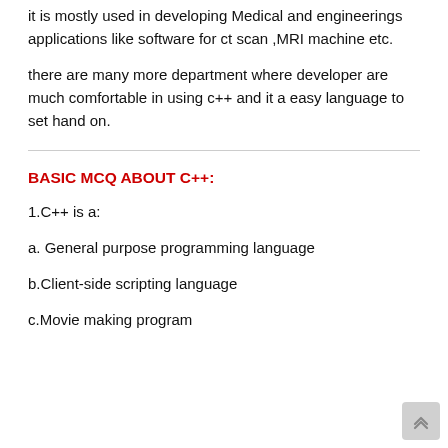it is mostly used in developing Medical and engineerings applications like software for ct scan ,MRI machine etc.
there are many more department where developer are much comfortable in using c++ and it a easy language to set hand on.
BASIC MCQ ABOUT C++:
1.C++ is a:
a. General purpose programming language
b.Client-side scripting language
c.Movie making program